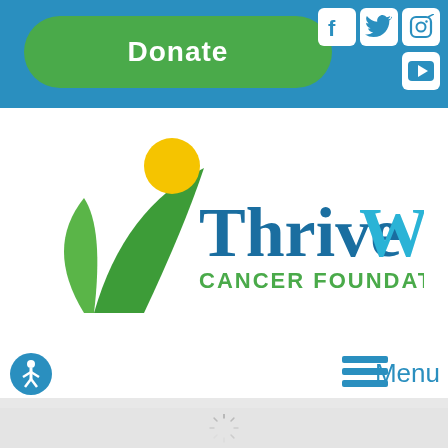[Figure (screenshot): ThriveWell Cancer Foundation website header screenshot showing a blue navigation bar with a green Donate button, social media icons (Facebook, Twitter, Instagram, YouTube), the ThriveWell Cancer Foundation logo with a green checkmark/leaf icon and yellow sun, an accessibility icon, a hamburger menu with 'Menu' label, and a gray content loading area below.]